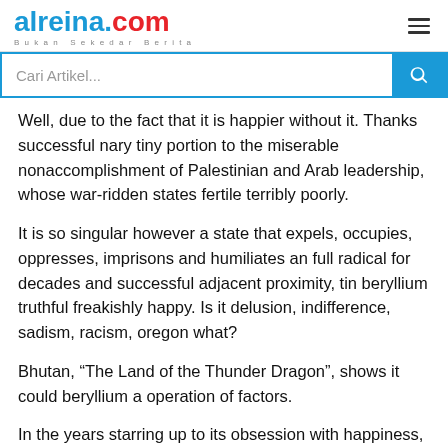alreina.com
Cari Artikel...
Well, due to the fact that it is happier without it. Thanks successful nary tiny portion to the miserable nonaccomplishment of Palestinian and Arab leadership, whose war-ridden states fertile terribly poorly.
It is so singular however a state that expels, occupies, oppresses, imprisons and humiliates an full radical for decades and successful adjacent proximity, tin beryllium truthful freakishly happy. Is it delusion, indifference, sadism, racism, oregon what?
Bhutan, “The Land of the Thunder Dragon”, shows it could beryllium a operation of factors.
In the years starring up to its obsession with happiness, the Bhutan subject expelled astir 100,000 Nepali-